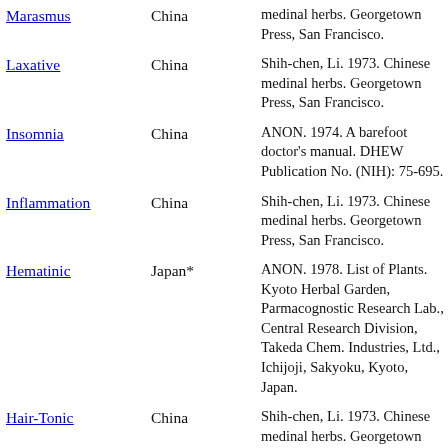| Use | Country | Reference |
| --- | --- | --- |
| Marasmus | China | medinal herbs. Georgetown Press, San Francisco. |
| Laxative | China | Shih-chen, Li. 1973. Chinese medinal herbs. Georgetown Press, San Francisco. |
| Insomnia | China | ANON. 1974. A barefoot doctor's manual. DHEW Publication No. (NIH): 75-695. |
| Inflammation | China | Shih-chen, Li. 1973. Chinese medinal herbs. Georgetown Press, San Francisco. |
| Hematinic | Japan* | ANON. 1978. List of Plants. Kyoto Herbal Garden, Parmacognostic Research Lab., Central Research Division, Takeda Chem. Industries, Ltd., Ichijoji, Sakyoku, Kyoto, Japan. |
| Hair-Tonic | China | Shih-chen, Li. 1973. Chinese medinal herbs. Georgetown Press, San Francisco. |
| Fever | China | Shih-chen, Li. 1973. Chinese medinal herbs. Georgetown Press, San Francisco. |